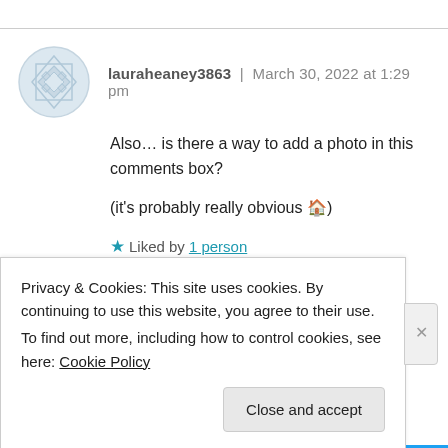lauraheaney3863 | March 30, 2022 at 1:29 pm
Also... is there a way to add a photo in this comments box?

(it's probably really obvious 🏠)
★ Liked by 1 person
Reply
Privacy & Cookies: This site uses cookies. By continuing to use this website, you agree to their use.
To find out more, including how to control cookies, see here: Cookie Policy
Close and accept